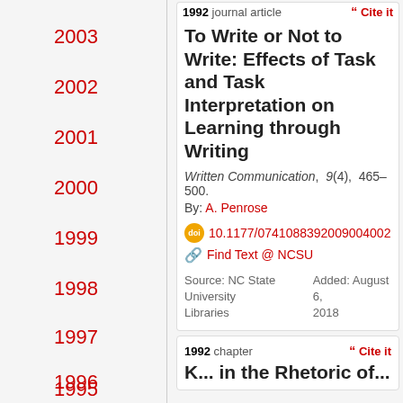2003
2002
2001
2000
1999
1998
1997
1996
1995
1994
1992 journal article | Cite it
To Write or Not to Write: Effects of Task and Task Interpretation on Learning through Writing
Written Communication, 9(4), 465–500.
By: A. Penrose
doi:10.1177/0741088392009004002
Find Text @ NCSU
Source: NC State University Libraries
Added: August 6, 2018
1992 chapter | Cite it
K... in the Rhetoric of...